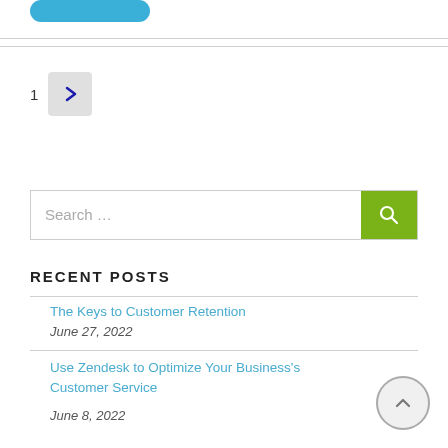[Figure (other): Blue rounded rectangle button (partially visible at top)]
1
[Figure (other): Arrow navigation button with right arrow icon on grey background]
[Figure (other): Search bar with placeholder text 'Search...' and green search icon button]
RECENT POSTS
The Keys to Customer Retention
June 27, 2022
Use Zendesk to Optimize Your Business's Customer Service
June 8, 2022
[Figure (other): Back to top circular button with upward chevron]